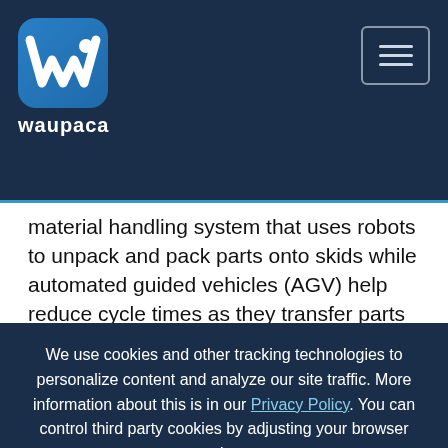waupaca
material handling system that uses robots to unpack and pack parts onto skids while automated guided vehicles (AGV) help reduce cycle times as they transfer parts to one of five machining cells. Twin-spindle CNC lathes produce components to tight tolerances, said the company.
We use cookies and other tracking technologies to personalize content and analyze our site traffic. More information about this is in our Privacy Policy. You can control third party cookies by adjusting your browser settings.
AGREE AND CONTINUE